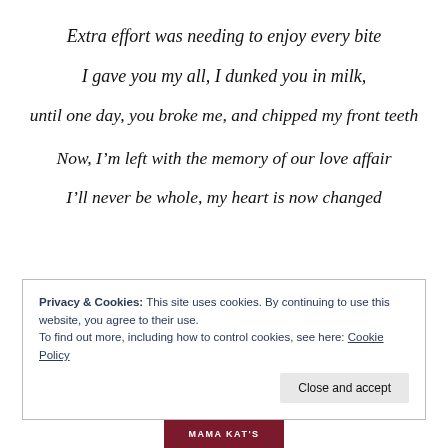Extra effort was needing to enjoy every bite
I gave you my all, I dunked you in milk,
until one day, you broke me, and chipped my front teeth
Now, I’m left with the memory of our love affair
I’ll never be whole, my heart is now changed
Privacy & Cookies: This site uses cookies. By continuing to use this website, you agree to their use. To find out more, including how to control cookies, see here: Cookie Policy
Close and accept
[Figure (logo): Mama Kat's logo bar at bottom of page]